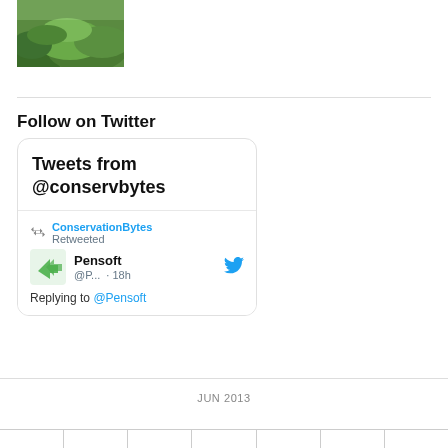[Figure (photo): Green hilly landscape photo thumbnail]
Follow on Twitter
[Figure (screenshot): Twitter widget showing Tweets from @conservbytes. ConservationBytes Retweeted. Pensoft @P... · 18h. Replying to @Pensoft]
JUN 2013